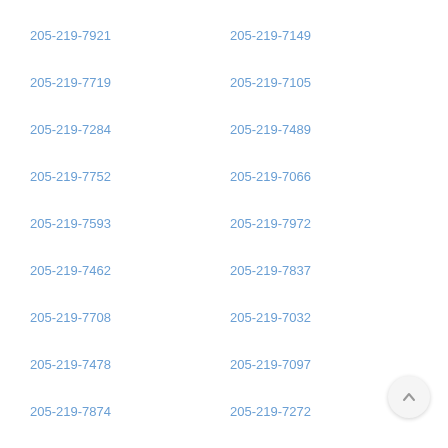205-219-7921
205-219-7149
205-219-7719
205-219-7105
205-219-7284
205-219-7489
205-219-7752
205-219-7066
205-219-7593
205-219-7972
205-219-7462
205-219-7837
205-219-7708
205-219-7032
205-219-7478
205-219-7097
205-219-7874
205-219-7272